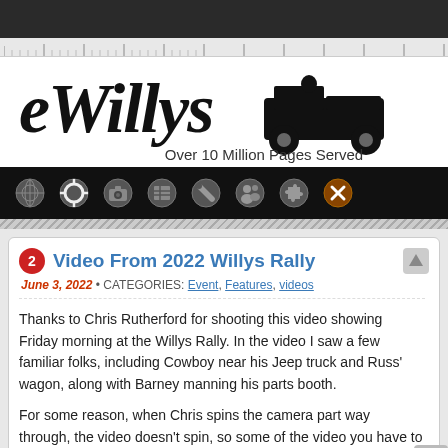[Figure (logo): eWillys website logo with cursive script text and vintage Jeep illustration, subtitle 'Over 10 Million Pages Served']
[Figure (screenshot): Black navigation bar with 8 circular icon buttons]
Video From 2022 Willys Rally
June 3, 2022 • CATEGORIES: Event, Features, videos
Thanks to Chris Rutherford for shooting this video showing Friday morning at the Willys Rally. In the video I saw a few familiar folks, including Cowboy near his Jeep truck and Russ' wagon, along with Barney manning his parts booth.
For some reason, when Chris spins the camera part way through, the video doesn't spin, so some of the video you have to tilt your head to see. No matter, the effort is greatly appreciated!